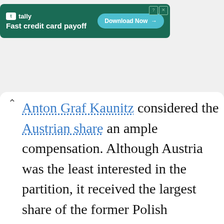[Figure (other): Tally app advertisement banner: green background, 'Fast credit card payoff' tagline, 'Download Now' button in teal]
Anton Graf Kaunitz considered the Austrian share an ample compensation. Although Austria was the least interested in the partition, it received the largest share of the former Polish population and the second-largest land share: 83,000 square kilometres (32,000 sq mi) and 2,650,000 people. Austria gained Zator, Auschwitz (Oświęcim), part of Little Poland (which constituted the counties